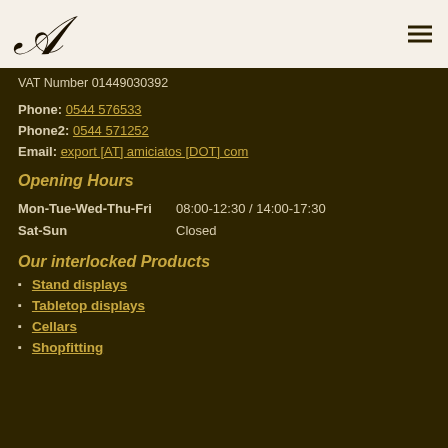A [logo] — header navigation bar
VAT Number 01449030392
Phone: 0544 576533
Phone2: 0544 571252
Email: export [AT] amiciatos [DOT] com
Opening Hours
Mon-Tue-Wed-Thu-Fri    08:00-12:30 / 14:00-17:30
Sat-Sun    Closed
Our interlocked Products
Stand displays
Tabletop displays
Cellars
Shopfitting